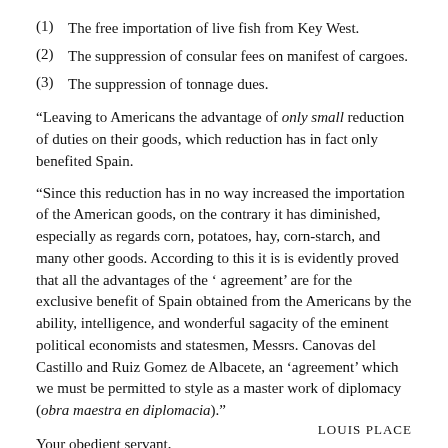(1)  The free importation of live fish from Key West.
(2)  The suppression of consular fees on manifest of cargoes.
(3)  The suppression of tonnage dues.
“Leaving to Americans the advantage of only small reduction of duties on their goods, which reduction has in fact only benefited Spain.
“Since this reduction has in no way increased the importation of the American goods, on the contrary it has diminished, especially as regards corn, potatoes, hay, corn-starch, and many other goods. According to this it is is evidently proved that all the advantages of the ‘ agreement’ are for the exclusive benefit of Spain obtained from the Americans by the ability, intelligence, and wonderful sagacity of the eminent political economists and statesmen, Messrs. Canovas del Castillo and Ruiz Gomez de Albacete, an ‘agreement’ which we must be permitted to style as a master work of diplomacy (obra maestra en diplomacia).”
Your obedient servant,
LOUIS PLACE